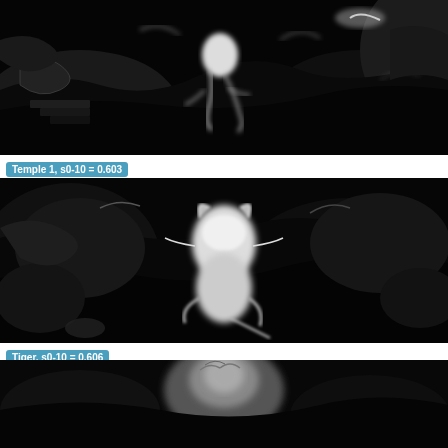[Figure (photo): Grayscale abstract/neural visualization image labeled Temple 1, showing dark swirling forms with bright white edge-highlighted figures.]
Temple 1, s0-10 = 0.603
[Figure (photo): Grayscale abstract/neural visualization image labeled Tiger, showing dark swirling cloud-like forms with a bright white central figure resembling an animal.]
Tiger, s0-10 = 0.606
[Figure (photo): Grayscale abstract/neural visualization image (partially visible at bottom), showing a dark background with a lighter figure in the center.]